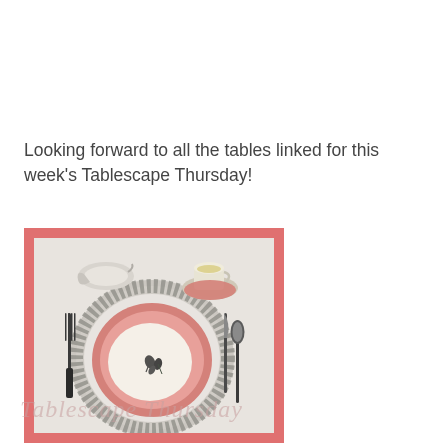Looking forward to all the tables linked for this week's Tablescape Thursday!
[Figure (photo): A formal place setting photographed from above, showing stacked plates with floral pattern, a teacup and saucer, a gravy boat, and silverware (fork, knife, spoon), all on a white tablecloth. The image is framed with a coral/salmon-colored border.]
Tablescape Thursday